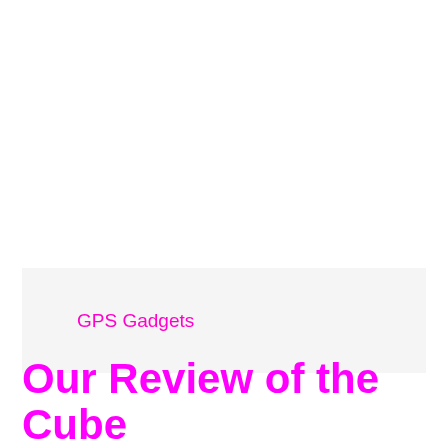GPS Gadgets
Our Review of the Cube